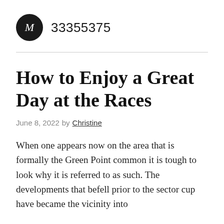M  33355375
How to Enjoy a Great Day at the Races
June 8, 2022 by Christine
When one appears now on the area that is formally the Green Point common it is tough to look why it is referred to as such. The developments that befell prior to the sector cup have became the vicinity into